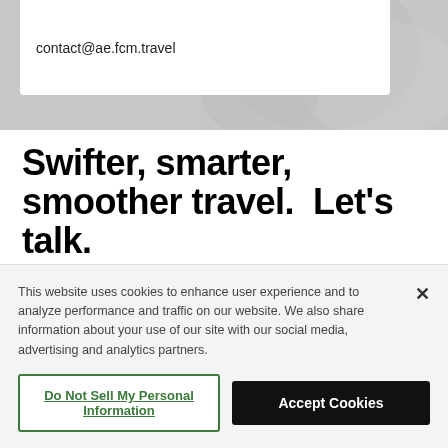[Figure (photo): Background photo of a person, partially visible, with a white card overlay showing an email address]
contact@ae.fcm.travel
Swifter, smarter, smoother travel.  Let's talk.
First Name *
This website uses cookies to enhance user experience and to analyze performance and traffic on our website. We also share information about your use of our site with our social media, advertising and analytics partners.
Do Not Sell My Personal Information
Accept Cookies